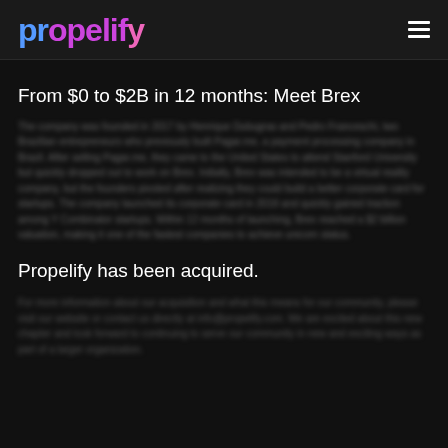propelify
From $0 to $2B in 12 months: Meet Brex
[blurred/redacted body text]
Propelify has been acquired.
[blurred/redacted footer text]